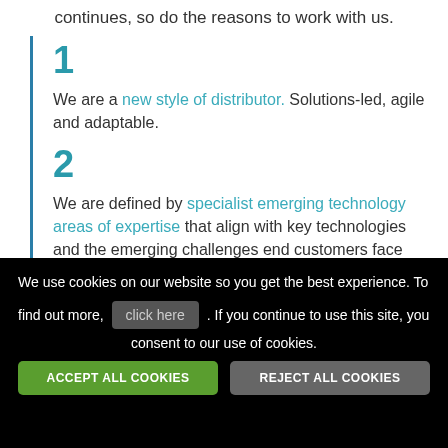continues, so do the reasons to work with us.
1
We are a new style of distributor. Solutions-led, agile and adaptable.
2
We are defined by specialist emerging technology areas of expertise that align with key technologies and the emerging challenges end customers face
We use cookies on our website so you get the best experience. To find out more, click here . If you continue to use this site, you consent to our use of cookies.
ACCEPT ALL COOKIES | REJECT ALL COOKIES